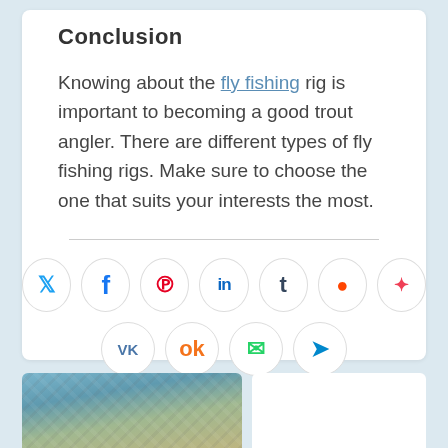Conclusion
Knowing about the fly fishing rig is important to becoming a good trout angler. There are different types of fly fishing rigs. Make sure to choose the one that suits your interests the most.
[Figure (infographic): Social media share buttons: Twitter, Facebook, Pinterest, LinkedIn, Tumblr, Reddit, Pocket (top row); VK, Odnoklassniki, WhatsApp, Telegram (bottom row)]
[Figure (photo): Partial photo of fishing net and fish, bottom left corner of page]